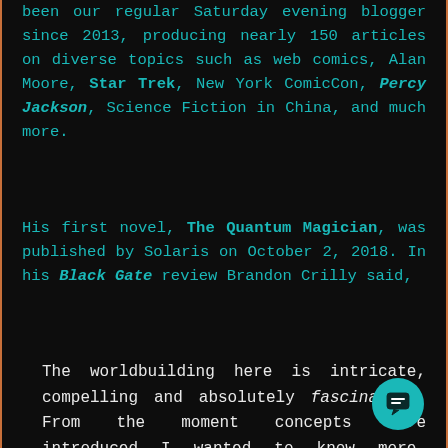been our regular Saturday evening blogger since 2013, producing nearly 150 articles on diverse topics such as web comics, Alan Moore, Star Trek, New York ComicCon, Percy Jackson, Science Fiction in China, and much more.
His first novel, The Quantum Magician, was published by Solaris on October 2, 2018. In his Black Gate review Brandon Crilly said,
The worldbuilding here is intricate, compelling and absolutely fascinating. From the moment concepts were introduced I wanted to know more, especially the different subsets of humanity that Künsken presents, each